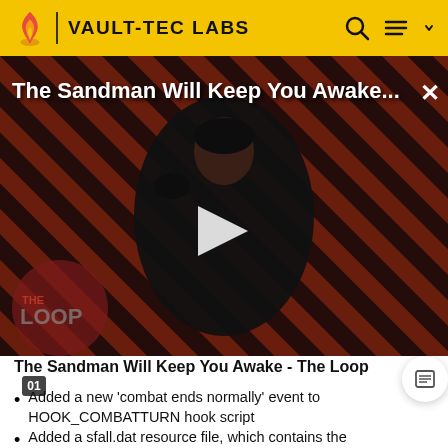VAULT-TEC LABS
[Figure (screenshot): Video thumbnail showing a dark figure in a black cape against a red and black striped background. Title overlay reads 'The Sandman Will Keep You Awake...' with a play button in the center and 'THE LOOP' watermark at the bottom left.]
The Sandman Will Keep You Awake - The Loop
Added a new 'combat ends normally' event to HOOK_COMBATTURN hook script
Added a sfall.dat resource file, which contains the